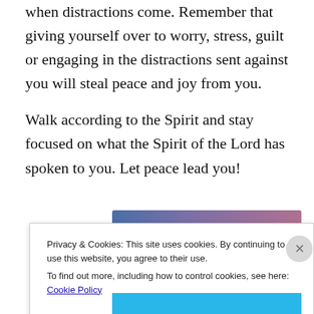when distractions come. Remember that giving yourself over to worry, stress, guilt or engaging in the distractions sent against you will steal peace and joy from you.
Walk according to the Spirit and stay focused on what the Spirit of the Lord has spoken to you. Let peace lead you!
[Figure (illustration): A horizontal gradient banner image transitioning from blue-purple on the left to pink/mauve on the right, partially visible at bottom of page.]
Privacy & Cookies: This site uses cookies. By continuing to use this website, you agree to their use.
To find out more, including how to control cookies, see here: Cookie Policy
Close and accept